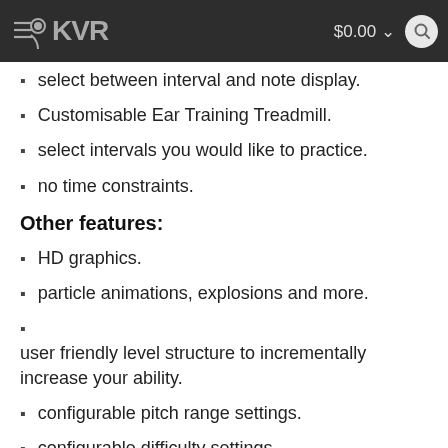KVR  $0.00
select between interval and note display.
Customisable Ear Training Treadmill.
select intervals you would like to practice.
no time constraints.
Other features:
HD graphics.
particle animations, explosions and more.
user friendly level structure to incrementally increase your ability.
configurable pitch range settings.
configurable difficulty settings.
Free for limited time only
The Orb is available for iPhone and iPad, supporting iOS 7.1...